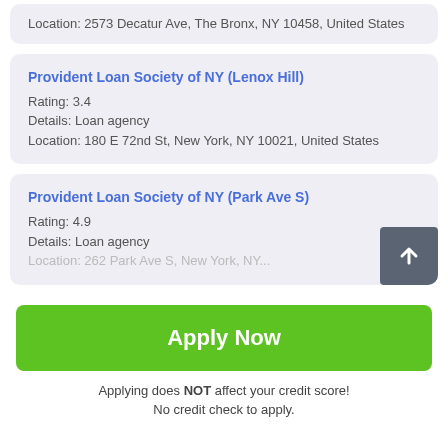Location: 2573 Decatur Ave, The Bronx, NY 10458, United States
Provident Loan Society of NY (Lenox Hill)
Rating: 3.4
Details: Loan agency
Location: 180 E 72nd St, New York, NY 10021, United States
Provident Loan Society of NY (Park Ave S)
Rating: 4.9
Details: Loan agency
Apply Now
Applying does NOT affect your credit score! No credit check to apply.